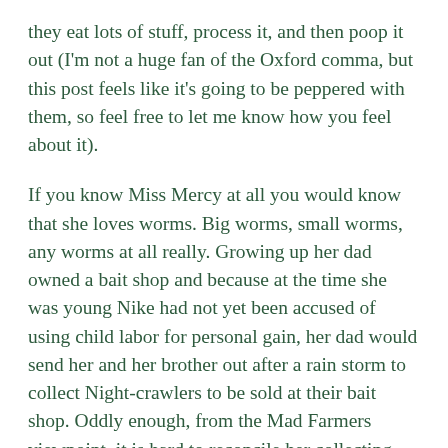they eat lots of stuff, process it, and then poop it out (I'm not a huge fan of the Oxford comma, but this post feels like it's going to be peppered with them, so feel free to let me know how you feel about it).
If you know Miss Mercy at all you would know that she loves worms. Big worms, small worms, any worms at all really. Growing up her dad owned a bait shop and because at the time she was young Nike had not yet been accused of using child labor for personal gain, her dad would send her and her brother out after a rain storm to collect Night-crawlers to be sold at their bait shop. Oddly enough, from the Mad Farmers viewpoint, it is hard to reconcile her collecting worms to be used as fish food in her younger years and her current gentleness when planting in the garden and making sure no worms are harmed in the process. The Mad Farmer has plenty of childhood memories that don't make much sense when